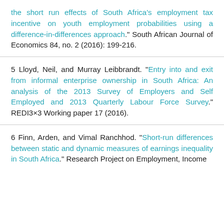the short run effects of South Africa's employment tax incentive on youth employment probabilities using a difference-in-differences approach." South African Journal of Economics 84, no. 2 (2016): 199-216.
5 Lloyd, Neil, and Murray Leibbrandt. "Entry into and exit from informal enterprise ownership in South Africa: An analysis of the 2013 Survey of Employers and Self Employed and 2013 Quarterly Labour Force Survey." REDI3×3 Working paper 17 (2016).
6 Finn, Arden, and Vimal Ranchhod. "Short-run differences between static and dynamic measures of earnings inequality in South Africa." Research Project on Employment, Income